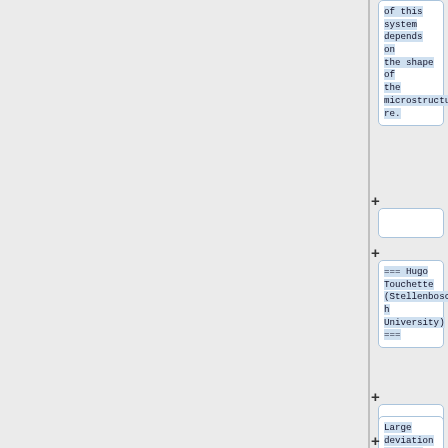of this system depends on the shape of the microstructure.
+
=== Hugo Touchette (Stellenbosch University) ===
+
Large deviation theory: From physics to